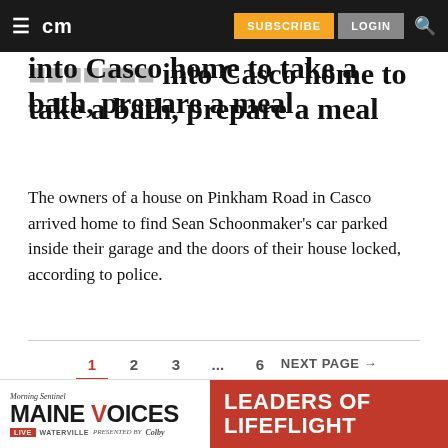≡  cm   SUBSCRIBE   LOGIN   🔍
...into Casco home to take a bath, prepare a meal
The owners of a house on Pinkham Road in Casco arrived home to find Sean Schoonmaker's car parked inside their garage and the doors of their house locked, according to police.
1   2   3   ...   6   NEXT PAGE →
[Figure (infographic): Advertisement banner: Morning Sentinel Maine Voices Live Waterville Presented by Colby — Leaders of Lifeflight]